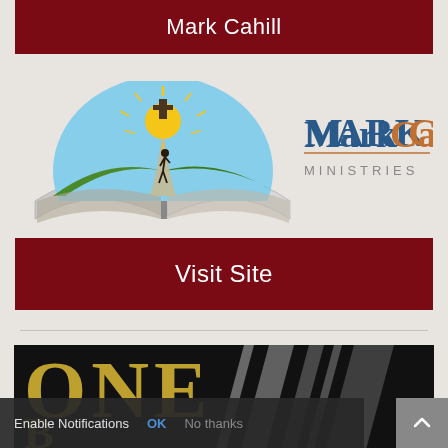Mark Cahill
[Figure (logo): Mark Cahill Ministries logo: open Bible with a path, golden sun, cross, and silhouette of a person walking toward the light. To the right: 'MarkCahill' in blue and orange serif text, 'MINISTRIES' in grey spaced caps below.]
Visit Site
[Figure (photo): Partial view of a book cover with large gold/brass embossed letters spelling 'ONE' and below possibly 'B...' on a dark background with metallic silver streaks.]
Enable Notifications  OK  No thanks